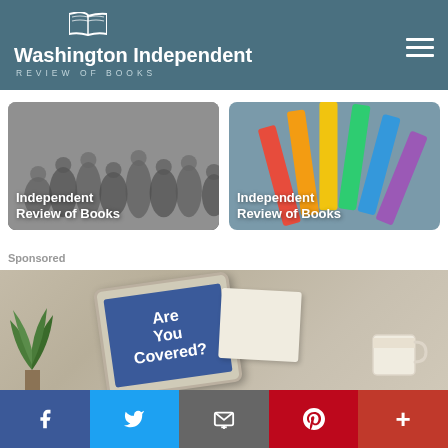Washington Independent REVIEW OF BOOKS
[Figure (screenshot): Two promotional cards for 'Independent Review of Books' — left card has black and white people background, right card has colorful pencils background]
Sponsored
[Figure (photo): Sponsored advertisement image showing a tablet displaying 'Are You Covered?' text, with a plant on the left and a coffee cup on the right]
[Figure (screenshot): Social media share bar with Facebook, Twitter, Email, Pinterest, and More buttons]